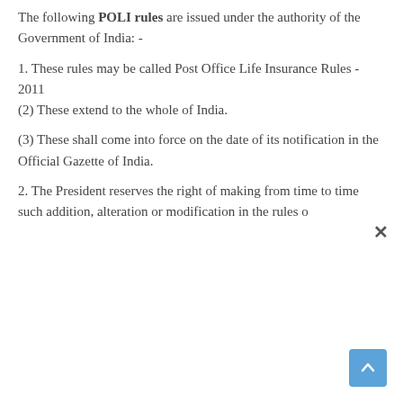The following POLI rules are issued under the authority of the Government of India: -
1. These rules may be called Post Office Life Insurance Rules - 2011
(2) These extend to the whole of India.
(3) These shall come into force on the date of its notification in the Official Gazette of India.
2. The President reserves the right of making from time to time such addition, alteration or modification in the rules o